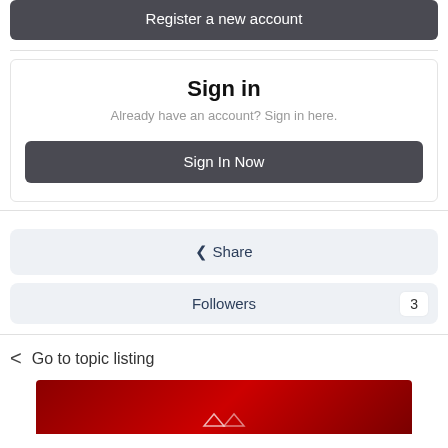Register a new account
Sign in
Already have an account? Sign in here.
Sign In Now
Share
Followers 3
Go to topic listing
[Figure (illustration): Red banner/advertisement image at bottom of page]